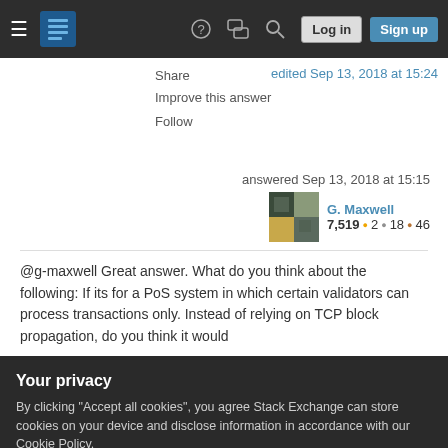Stack Exchange navigation bar with Log in and Sign up buttons
Share
Improve this answer
Follow
edited Sep 13, 2018 at 15:24
answered Sep 13, 2018 at 15:15
G. Maxwell 7,519 ●2 ●18 ●46
@g-maxwell Great answer. What do you think about the following: If its for a PoS system in which certain validators can process transactions only. Instead of relying on TCP block propagation, do you think it would
Your privacy
By clicking "Accept all cookies", you agree Stack Exchange can store cookies on your device and disclose information in accordance with our Cookie Policy.
Accept all cookies
Customize settings
3   Why do transactions need to propagate fast? That